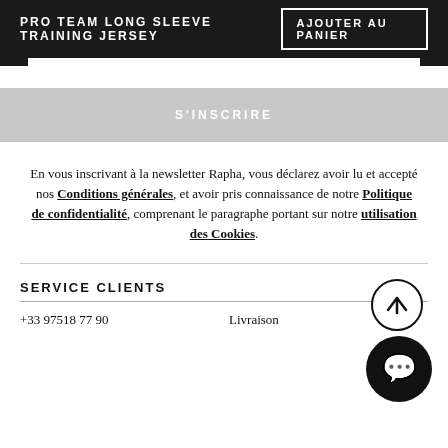PRO TEAM LONG SLEEVE TRAINING JERSEY
AJOUTER AU PANIER
S'INSCRIRE
En vous inscrivant à la newsletter Rapha, vous déclarez avoir lu et accepté nos Conditions générales, et avoir pris connaissance de notre Politique de confidentialité, comprenant le paragraphe portant sur notre utilisation des Cookies.
SERVICE CLIENTS
+33 97518 77 90
Livraison